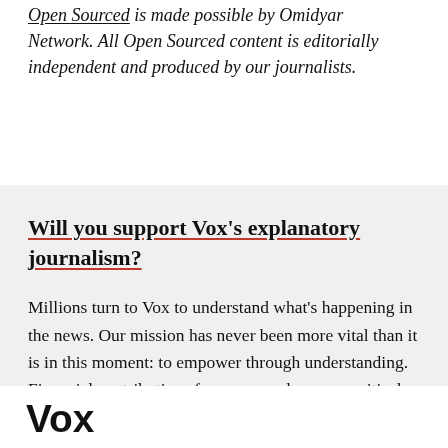Open Sourced is made possible by Omidyar Network. All Open Sourced content is editorially independent and produced by our journalists.
Will you support Vox's explanatory journalism?
Millions turn to Vox to understand what's happening in the news. Our mission has never been more vital than it is in this moment: to empower through understanding. Financial contributions from our readers are a critical part of supporting our resource-intensive work and help us keep our journalism free for
Vox